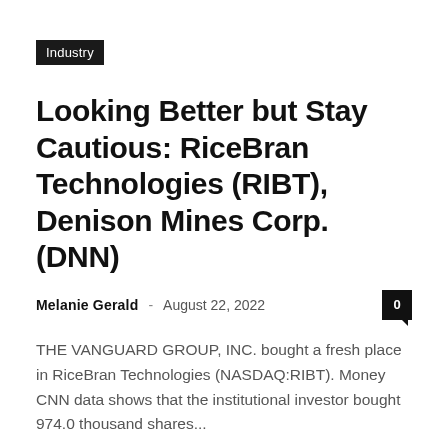Industry
Looking Better but Stay Cautious: RiceBran Technologies (RIBT), Denison Mines Corp. (DNN)
Melanie Gerald · August 22, 2022
THE VANGUARD GROUP, INC. bought a fresh place in RiceBran Technologies (NASDAQ:RIBT). Money CNN data shows that the institutional investor bought 974.0 thousand shares...